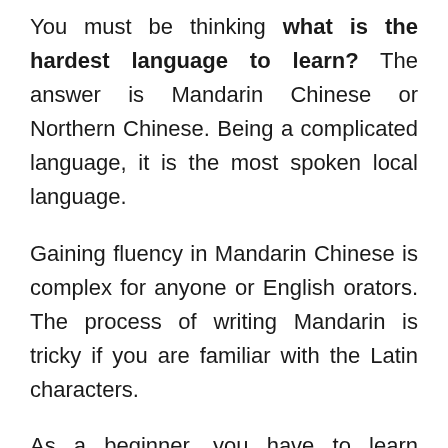You must be thinking what is the hardest language to learn? The answer is Mandarin Chinese or Northern Chinese. Being a complicated language, it is the most spoken local language.
Gaining fluency in Mandarin Chinese is complex for anyone or English orators. The process of writing Mandarin is tricky if you are familiar with the Latin characters.
As a beginner, you have to learn countless letters used in the Mandarin Chinese language.
The tone of this language is complex too. That is why speaking Mandarin Chinese becomes